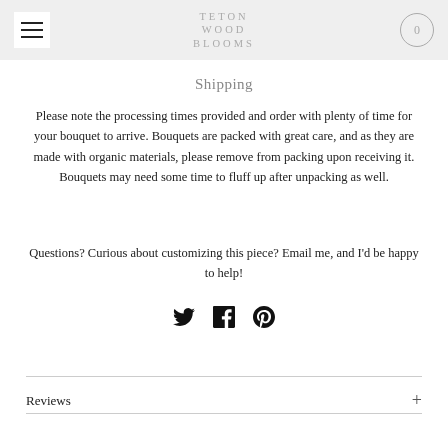TETON WOOD BLOOMS
Shipping
Please note the processing times provided and order with plenty of time for your bouquet to arrive. Bouquets are packed with great care, and as they are made with organic materials, please remove from packing upon receiving it. Bouquets may need some time to fluff up after unpacking as well.
Questions? Curious about customizing this piece? Email me, and I'd be happy to help!
[Figure (other): Social share icons: Twitter bird, Facebook f, Pinterest p]
Reviews